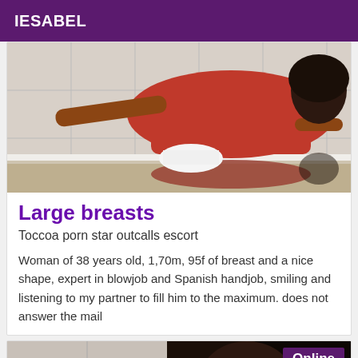IESABEL
[Figure (photo): Woman in red dress doing a plank pose on a bathroom floor, reflected in mirror]
Large breasts
Toccoa porn star outcalls escort
Woman of 38 years old, 1,70m, 95f of breast and a nice shape, expert in blowjob and Spanish handjob, smiling and listening to my partner to fill him to the maximum. does not answer the mail
[Figure (photo): Close-up of a woman's face and shoulder with dark hair, with 'Online' badge overlay]